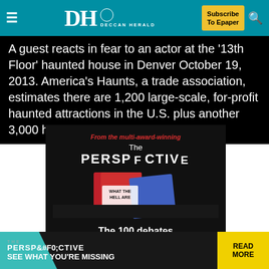DH DECCAN HERALD | Subscribe To Epaper
A guest reacts in fear to an actor at the '13th Floor' haunted house in Denver October 19, 2013. America's Haunts, a trade association, estimates there are 1,200 large-scale, for-profit haunted attractions in the U.S. plus another 3,000 haunted ho...
[Figure (illustration): Advertisement for 'The Perspective' book/publication. Dark background with red italic text 'From the multi-award-winning', then 'The PERSPECTIVE' in large white bold text, image of a book with 'WHAT THE HELL ARE' visible on cover, white bold text 'The 100 debates that govern your life.' with 'Available on Amazon' button and teal up-arrow button.]
[Figure (illustration): Bottom banner ad: teal corner shape, 'THE PERSPECTIVE' text, 'SEE WHAT YOU'RE MISSING' text, yellow 'READ MORE' button.]